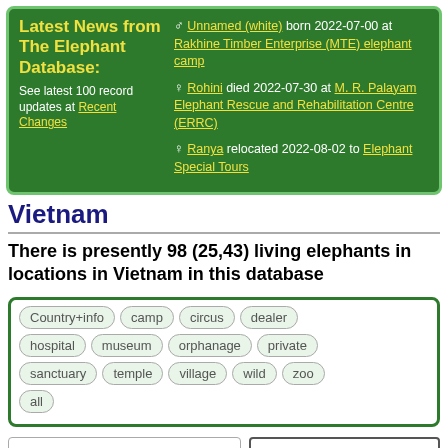Latest News from The Elephant Database:
See latest 100 record updates at Recent Changes
♂ Unnamed (white) born 2022-07-00 at Rakhine Timber Enterprise (MTE) elephant camp
♀ Rohini died 2022-07-30 at M. R. Palayam Elephant Rescue and Rehabilitation Centre (ERRC)
♀ Ranya relocated 2022-08-02 to Elephant Special Tours
Vietnam
There is presently 98 (25,43) living elephants in locations in Vietnam in this database
Country+info | camp | circus | dealer | hospital | museum | orphanage | private | sanctuary | temple | village | wild | zoo | all
Hunting, forest clearances and warfare that saw forests bombed and poisoned with Agent Orange and other
Vietnam
Region: Vietnam is in this database included in Asia